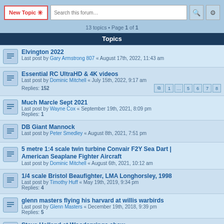13 topics • Page 1 of 1
Topics
Elvington 2022 — Last post by Gary Armstrong 807 « August 17th, 2022, 11:43 am
Essential RC UltraHD & 4K videos — Last post by Dominic Mitchell « July 15th, 2022, 9:17 am — Replies: 152
Much Marcle Sept 2021 — Last post by Wayne Cox « September 19th, 2021, 8:09 pm — Replies: 1
DB Giant Mannock — Last post by Peter Smedley « August 8th, 2021, 7:51 pm
5 metre 1:4 scale twin turbine Convair F2Y Sea Dart | American Seaplane Fighter Aircraft — Last post by Dominic Mitchell « August 6th, 2021, 10:12 am
1/4 scale Bristol Beaufighter, LMA Longhorsley, 1998 — Last post by Timothy Huff « May 19th, 2019, 9:34 pm — Replies: 4
glenn masters flying his harvard at willis warbirds — Last post by Glenn Masters « December 19th, 2018, 9:39 pm — Replies: 5
Steve Holland at Woodsprings show — Last post by Steve Perry « July 3rd, 2017, 10:43 pm